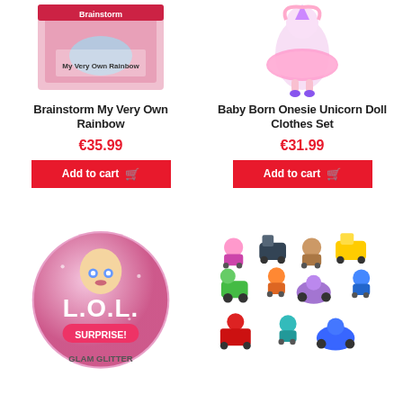[Figure (photo): Brainstorm My Very Own Rainbow product box image]
Brainstorm My Very Own Rainbow
€35.99
[Figure (photo): Baby Born Onesie Unicorn Doll Clothes Set product image]
Baby Born Onesie Unicorn Doll Clothes Set
€31.99
[Figure (photo): LOL Surprise Glam Glitter ball toy]
[Figure (photo): PAW Patrol figures and vehicles set]